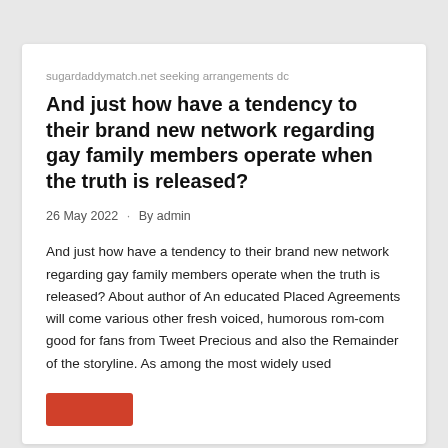sugardaddymatch.net seeking arrangements dc
And just how have a tendency to their brand new network regarding gay family members operate when the truth is released?
26 May 2022 · By admin
And just how have a tendency to their brand new network regarding gay family members operate when the truth is released? About author of An educated Placed Agreements will come various other fresh voiced, humorous rom-com good for fans from Tweet Precious and also the Remainder of the storyline. As among the most widely used